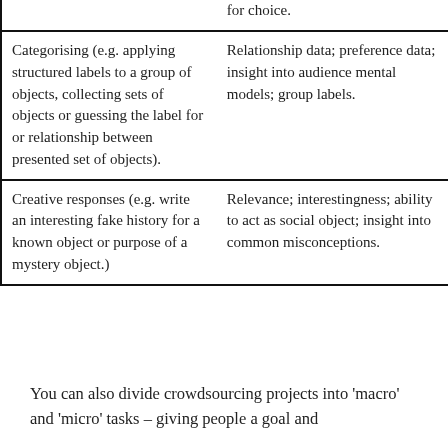|  | for choice. |
| Categorising (e.g. applying structured labels to a group of objects, collecting sets of objects or guessing the label for or relationship between presented set of objects). | Relationship data; preference data; insight into audience mental models; group labels. |
| Creative responses (e.g. write an interesting fake history for a known object or purpose of a mystery object.) | Relevance; interestingness; ability to act as social object; insight into common misconceptions. |
You can also divide crowdsourcing projects into 'macro' and 'micro' tasks – giving people a goal and